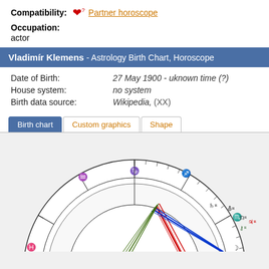Compatibility: ♥? Partner horoscope
Occupation: actor
Vladimír Klemens - Astrology Birth Chart, Horoscope
Date of Birth: 27 May 1900 - uknown time (?)
House system: no system
Birth data source: Wikipedia, (XX)
Birth chart | Custom graphics | Shape
[Figure (other): Astrology birth chart / horoscope wheel showing zodiac signs (Capricorn, Sagittarius, Aquarius, Scorpio, Libra, Pisces) with planetary symbols (Saturn R, Uranus R, North Node R, Jupiter R, Chiron R) and aspect lines (red, blue, green) drawn in the inner circle.]